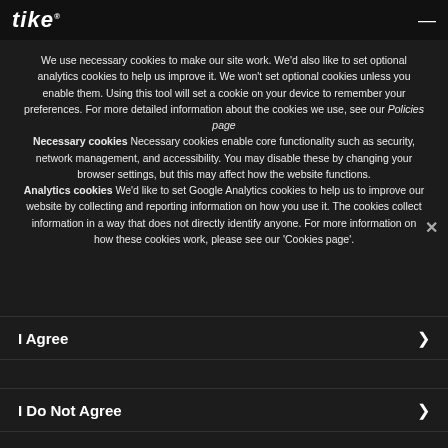tike (logo) with hamburger menu
We use necessary cookies to make our site work. We'd also like to set optional analytics cookies to help us improve it. We won't set optional cookies unless you enable them. Using this tool will set a cookie on your device to remember your preferences. For more detailed information about the cookies we use, see our Policies page
Necessary cookies Necessary cookies enable core functionality such as security, network management, and accessibility. You may disable these by changing your browser settings, but this may affect how the website functions.
Analytics cookies We'd like to set Google Analytics cookies to help us to improve our website by collecting and reporting information on how you use it. The cookies collect information in a way that does not directly identify anyone. For more information on how these cookies work, please see our 'Cookies page'.
I Agree
I Do Not Agree